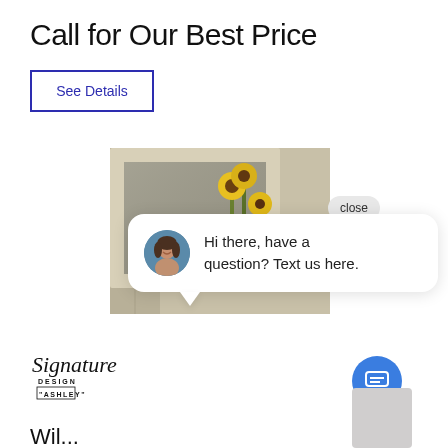Call for Our Best Price
See Details
[Figure (photo): A framed mirror with a white frame reflected against a tan/beige wall, with yellow sunflowers visible in the reflection]
close
Hi there, have a question? Text us here.
[Figure (logo): Signature Design by Ashley logo with cursive script]
Wil...